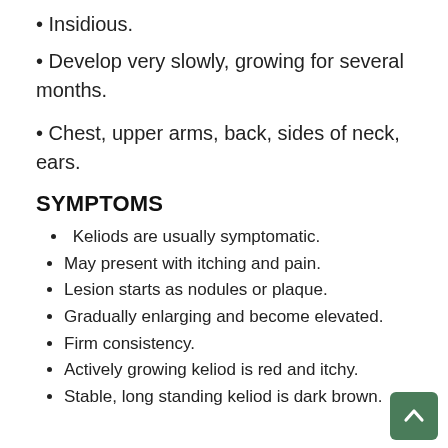Insidious.
Develop very slowly, growing for several months.
Chest, upper arms, back, sides of neck, ears.
SYMPTOMS
Keliods are usually symptomatic.
May present with itching and pain.
Lesion starts as nodules or plaque.
Gradually enlarging and become elevated.
Firm consistency.
Actively growing keliod is red and itchy.
Stable, long standing keliod is dark brown.
Keliod lesions may come...